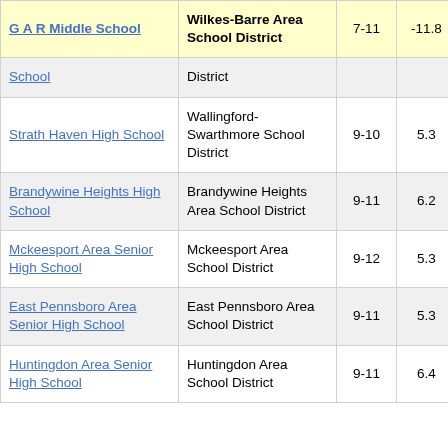| School | District | Grades | Score |  |
| --- | --- | --- | --- | --- |
| G A R Middle School | Wilkes-Barre Area School District | 7-11 | -11.8 | 3 |
| School | District |  |  |  |
| Strath Haven High School | Wallingford-Swarthmore School District | 9-10 | 5.3 |  |
| Brandywine Heights High School | Brandywine Heights Area School District | 9-11 | 6.2 |  |
| Mckeesport Area Senior High School | Mckeesport Area School District | 9-12 | 5.3 |  |
| East Pennsboro Area Senior High School | East Pennsboro Area School District | 9-11 | 5.3 |  |
| Huntingdon Area Senior High School | Huntingdon Area School District | 9-11 | 6.4 |  |